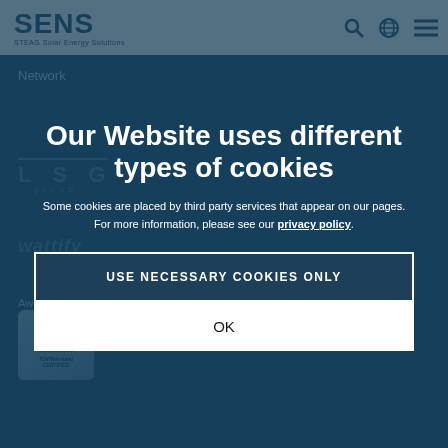[Figure (screenshot): SENS STEAG Solar Energy Solutions website navigation header with logo and icons]
Network
Our Website uses different types of cookies
Some cookies are placed by third party services that appear on our pages. For more information, please see our privacy policy.
USE NECESSARY COOKIES ONLY
OK